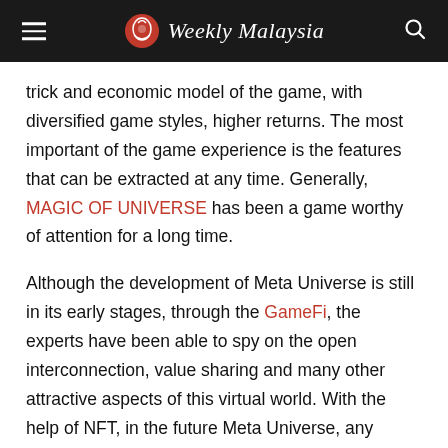Weekly Malaysia
trick and economic model of the game, with diversified game styles, higher returns. The most important of the game experience is the features that can be extracted at any time. Generally, MAGIC OF UNIVERSE has been a game worthy of attention for a long time.
Although the development of Meta Universe is still in its early stages, through the GameFi, the experts have been able to spy on the open interconnection, value sharing and many other attractive aspects of this virtual world. With the help of NFT, in the future Meta Universe, any Valuable individuals and things will be discovered and recorded.
Media Contact